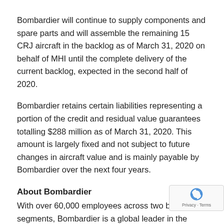Bombardier will continue to supply components and spare parts and will assemble the remaining 15 CRJ aircraft in the backlog as of March 31, 2020 on behalf of MHI until the complete delivery of the current backlog, expected in the second half of 2020.
Bombardier retains certain liabilities representing a portion of the credit and residual value guarantees totalling $288 million as of March 31, 2020. This amount is largely fixed and not subject to future changes in aircraft value and is mainly payable by Bombardier over the next four years.
About Bombardier
With over 60,000 employees across two business segments, Bombardier is a global leader in the transportation industry, creating innovative and ga...